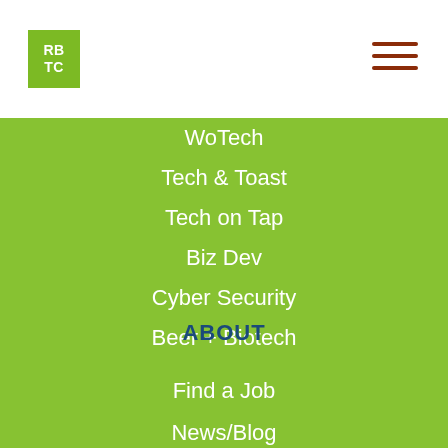[Figure (logo): RBTC green square logo with white text]
[Figure (other): Hamburger menu icon with three dark red horizontal lines]
WoTech
Tech & Toast
Tech on Tap
Biz Dev
Cyber Security
Beer + Biotech
ABOUT
Find a Job
News/Blog